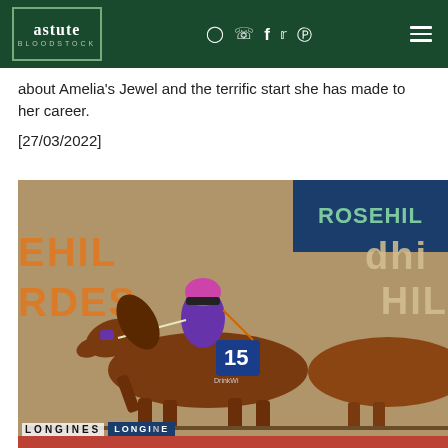astute BLOODSTOCK — navigation bar with social icons
about Amelia's Jewel and the terrific start she has made to her career.
[27/03/2022]
[Figure (photo): A jockey in purple silks riding horse number 15 winning a race at Rosehill Gardens racecourse. The Rosehill signage and Longines sponsorship banners are visible in the background. A second horse is visible on the right.]